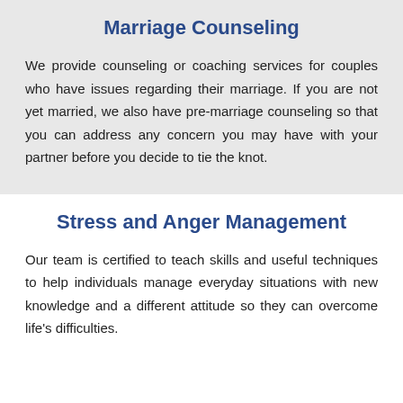Marriage Counseling
We provide counseling or coaching services for couples who have issues regarding their marriage. If you are not yet married, we also have pre-marriage counseling so that you can address any concern you may have with your partner before you decide to tie the knot.
Stress and Anger Management
Our team is certified to teach skills and useful techniques to help individuals manage everyday situations with new knowledge and a different attitude so they can overcome life's difficulties.